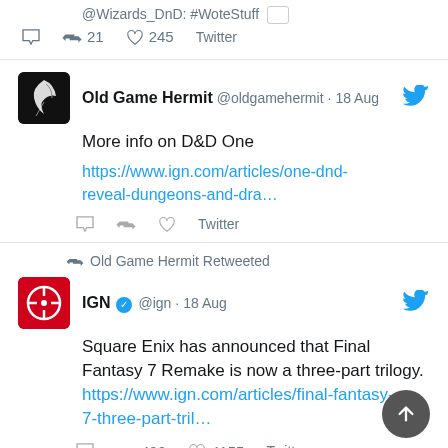@Wizards_DnD: #WoteStuff [icon] 21 retweets 245 likes Twitter
[Figure (screenshot): Tweet by Old Game Hermit @oldgamehermit 18 Aug: More info on D&D One https://www.ign.com/articles/one-dnd-reveal-dungeons-and-dra... Twitter]
[Figure (screenshot): Retweet: Old Game Hermit Retweeted. IGN (verified) @ign 18 Aug: Square Enix has announced that Final Fantasy 7 Remake is now a three-part trilogy. https://www.ign.com/articles/final-fantasy-7-three-part-tril... Twitter. 492 retweets 4155 likes]